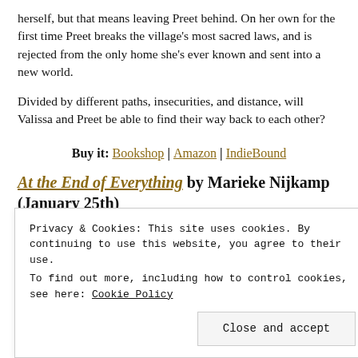herself, but that means leaving Preet behind. On her own for the first time Preet breaks the village's most sacred laws, and is rejected from the only home she's ever known and sent into a new world.
Divided by different paths, insecurities, and distance, will Valissa and Preet be able to find their way back to each other?
Buy it: Bookshop | Amazon | IndieBound
At the End of Everything by Marieke Nijkamp (January 25th)
Privacy & Cookies: This site uses cookies. By continuing to use this website, you agree to their use. To find out more, including how to control cookies, see here: Cookie Policy
Close and accept